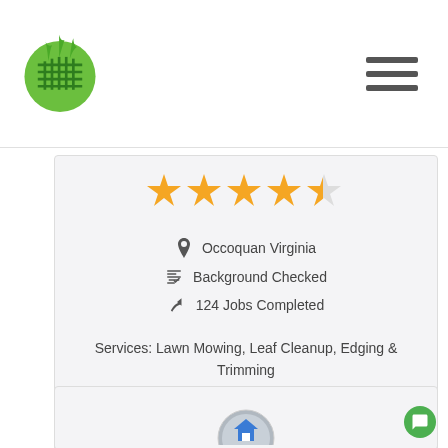[Figure (logo): Green circular lawn care logo with horizontal lines suggesting grass and a grid pattern]
[Figure (illustration): Hamburger menu icon — three horizontal dark bars]
[Figure (illustration): Star rating showing 4.5 out of 5 stars in gold/yellow]
Occoquan Virginia
Background Checked
124 Jobs Completed
Services: Lawn Mowing, Leaf Cleanup, Edging & Trimming
[Figure (logo): Circular profile image with a house and lawn care icon]